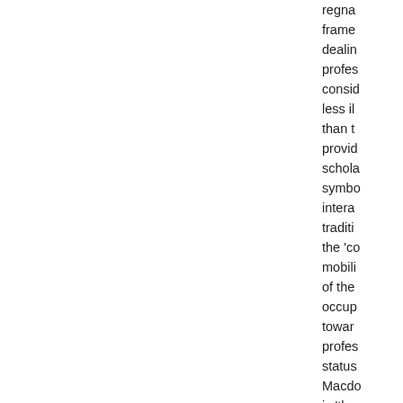regna... frame... dealin... profes... consid... less il... than t... provid... schola... symbo... intera... traditi... the 'co... mobili... of the... occup... towar... profes... status... Macdo... is 'the... profes... projec... comp...